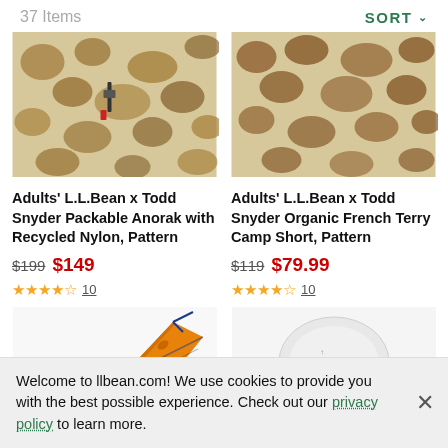37 Items   SORT
[Figure (photo): Two camo-patterned packable anoraks laid flat on a light wood surface]
[Figure (photo): Two camo-patterned French Terry Camp Shorts laid flat on a light wood surface]
Adults' L.L.Bean x Todd Snyder Packable Anorak with Recycled Nylon, Pattern
$199  $149
★★★★½  10
Adults' L.L.Bean x Todd Snyder Organic French Terry Camp Short, Pattern
$119  $79.99
★★★★½  10
[Figure (photo): Orange kayak or canoe product image, partially visible]
[Figure (photo): White/grey surfboard or paddle board product image with TOP scroll button overlay]
Welcome to llbean.com! We use cookies to provide you with the best possible experience. Check out our privacy policy to learn more.